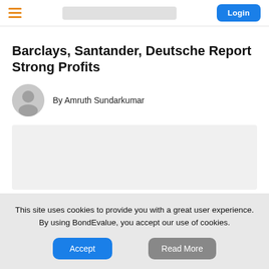Login
Barclays, Santander, Deutsche Report Strong Profits
By Amruth Sundarkumar
[Figure (photo): Article image placeholder (gray rectangle)]
This site uses cookies to provide you with a great user experience. By using BondEvalue, you accept our use of cookies.